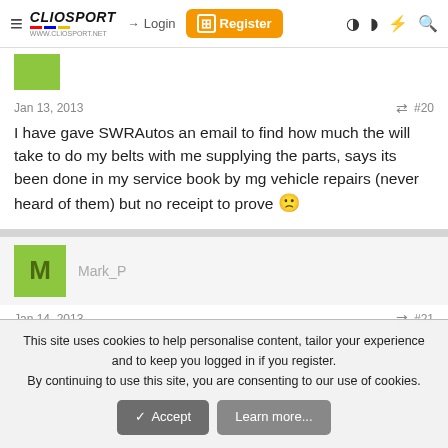ClioSport.net navigation bar with Login and Register buttons
Jan 13, 2013  #20
I have gave SWRAutos an email to find how much the will take to do my belts with me supplying the parts, says its been done in my service book by mg vehicle repairs (never heard of them) but no receipt to prove 🙁
Mark_P
Jan 14, 2013  #21
This site uses cookies to help personalise content, tailor your experience and to keep you logged in if you register.
By continuing to use this site, you are consenting to our use of cookies.